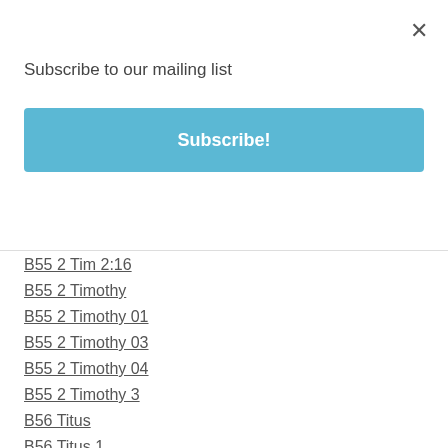×
Subscribe to our mailing list
Subscribe!
B55 2 Tim 2:16
B55 2 Timothy
B55 2 Timothy 01
B55 2 Timothy 03
B55 2 Timothy 04
B55 2 Timothy 3
B56 Titus
B56 Titus 1
B56 Titus 2
B56 Titus 3
B57 Philemon
B58 Hebrews
B58 Hebrews 01
B58 Hebrews 03